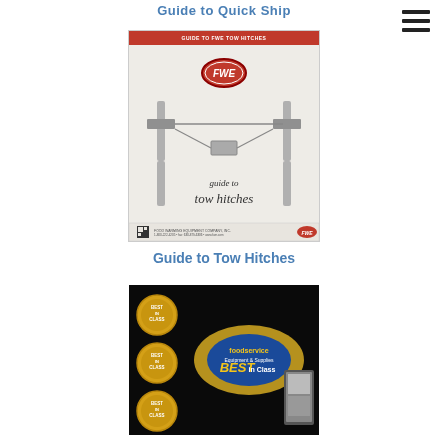Guide to Quick Ship
[Figure (photo): Cover of FWE brochure titled 'Guide to Tow Hitches' showing tow hitch hardware against a light background, with FWE logo at top and company contact info at bottom]
Guide to Tow Hitches
[Figure (photo): Dark background image showing foodservice equipment award badges labeled 'Best in Class' in gold circular seals, along with product imagery]